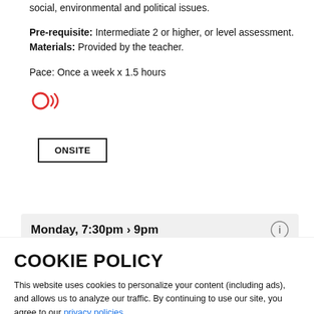social, environmental and political issues.
Pre-requisite: Intermediate 2 or higher, or level assessment.
Materials: Provided by the teacher.
Pace: Once a week x 1.5 hours
[Figure (illustration): Red speaking/audio icon - head with sound waves]
ONSITE
Monday, 7:30pm › 9pm
COOKIE POLICY
This website uses cookies to personalize your content (including ads), and allows us to analyze our traffic. By continuing to use our site, you agree to our privacy policies.
OK